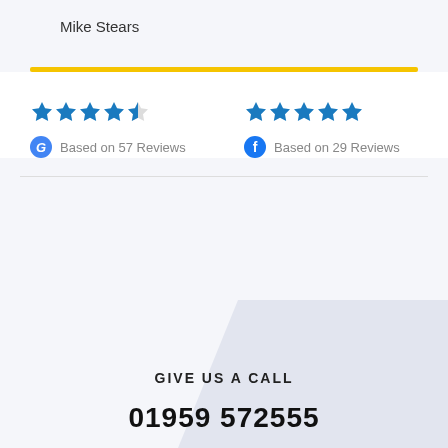Mike Stears
[Figure (infographic): Yellow horizontal divider bar]
[Figure (infographic): 4.5 star rating from Google, Based on 57 Reviews; 5 star rating from Facebook, Based on 29 Reviews]
Give Us A Call
01959 572555